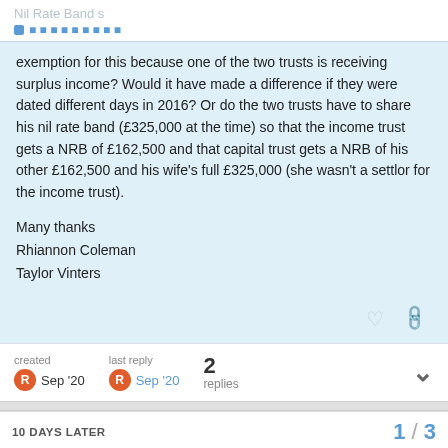Nil Rate Band s
exemption for this because one of the two trusts is receiving surplus income? Would it have made a difference if they were dated different days in 2016? Or do the two trusts have to share his nil rate band (£325,000 at the time) so that the income trust gets a NRB of £162,500 and that capital trust gets a NRB of his other £162,500 and his wife's full £325,000 (she wasn't a settlor for the income trust).
Many thanks
Rhiannon Coleman
Taylor Vinters
created Sep '20   last reply Sep '20   2 replies
10 DAYS LATER
1 / 3